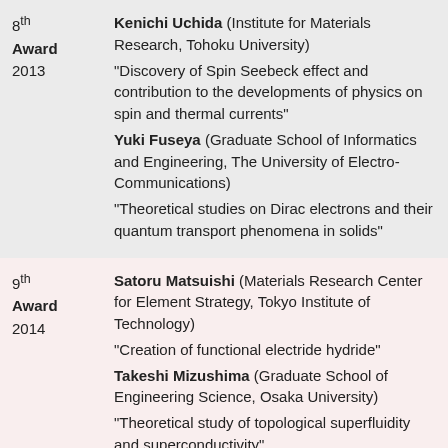| Award | Recipients and Descriptions |
| --- | --- |
| 8th Award 2013 | Kenichi Uchida (Institute for Materials Research, Tohoku University) "Discovery of Spin Seebeck effect and contribution to the developments of physics on spin and thermal currents" | Yuki Fuseya (Graduate School of Informatics and Engineering, The University of Electro-Communications) "Theoretical studies on Dirac electrons and their quantum transport phenomena in solids" |
| 9th Award 2014 | Satoru Matsuishi (Materials Research Center for Element Strategy, Tokyo Institute of Technology) "Creation of functional electride hydride" | Takeshi Mizushima (Graduate School of Engineering Science, Osaka University) "Theoretical study of topological superfluidity and superconductivity" | Fumitaka Kagawa (RIKEN Center for Emergent Matter Science) |